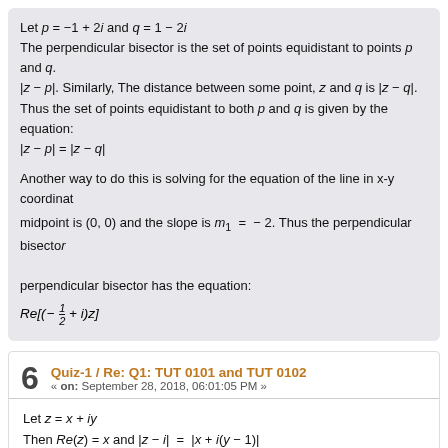Let p = −1 + 2i and q = 1 − 2i
The perpendicular bisector is the set of points equidistant to points p and q. |z − p|. Similarly, The distance between some point, z and q is |z − q|.
Thus the set of points equidistant to both p and q is given by the equation:
|z − p| = |z − q|
Another way to do this is solving for the equation of the line in x-y coordinates: midpoint is (0, 0) and the slope is m₁ = −2. Thus the perpendicular bisector perpendicular bisector has the equation:
6  Quiz-1 / Re: Q1: TUT 0101 and TUT 0102
« on: September 28, 2018, 06:01:05 PM »
Let z = x + iy
Then Re(z) = x and |z − i| = |x + i(y − 1)|
Thus:
Re(z) = |z − i|
x = |x + i(y − 1)|
x = √(x² + (y − 1)²)
x² = x² + (y − 1)², x ≥ 0
(y − 1)² = 0, x ≥ 0